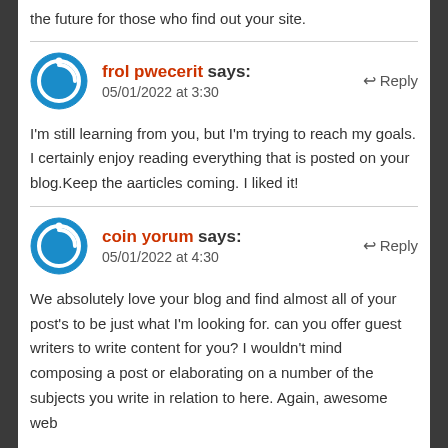the future for those who find out your site.
frol pwecerit says:
05/01/2022 at 3:30
I'm still learning from you, but I'm trying to reach my goals. I certainly enjoy reading everything that is posted on your blog.Keep the aarticles coming. I liked it!
coin yorum says:
05/01/2022 at 4:30
We absolutely love your blog and find almost all of your post's to be just what I'm looking for. can you offer guest writers to write content for you? I wouldn't mind composing a post or elaborating on a number of the subjects you write in relation to here. Again, awesome web